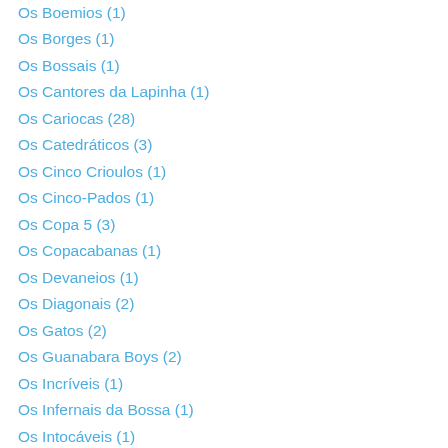Os Boemios (1)
Os Borges (1)
Os Bossais (1)
Os Cantores da Lapinha (1)
Os Cariocas (28)
Os Catedráticos (3)
Os Cinco Crioulos (1)
Os Cinco-Pados (1)
Os Copa 5 (3)
Os Copacabanas (1)
Os Devaneios (1)
Os Diagonais (2)
Os Gatos (2)
Os Guanabara Boys (2)
Os Incríveis (1)
Os Infernais da Bossa (1)
Os Intocáveis (1)
Os Ipanemas (2)
Os Milionários do Ritmo (1)
Os Nacionais (1)